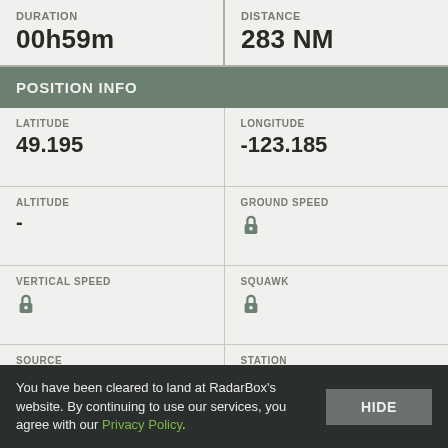DURATION
00h59m
DISTANCE
283 NM
POSITION INFO
LATITUDE
49.195
LONGITUDE
-123.185
ALTITUDE
-
GROUND SPEED
[locked]
VERTICAL SPEED
[locked]
SQUAWK
[locked]
SOURCE
ADS-B
STATION
-
AIRCRAFT INFO
AIRCRAFT MODEL:
You have been cleared to land at RadarBox's website. By continuing to use our services, you agree with our Privacy Policy.